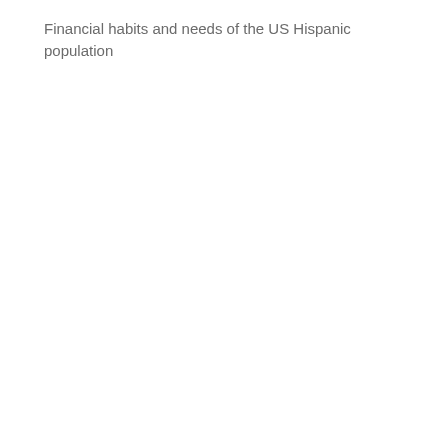Financial habits and needs of the US Hispanic population
[Figure (screenshot): A dropdown button (chevron/arrow pointing down) with a light gray background and rounded corners, positioned at the bottom left of the page, partially cut off. A horizontal gray divider line runs across the page below it.]